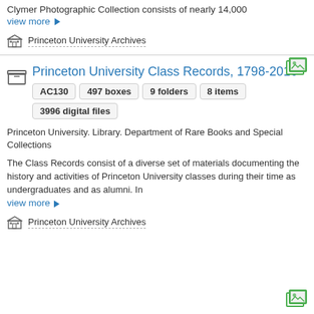Clymer Photographic Collection consists of nearly 14,000
view more ▶
Princeton University Archives
Princeton University Class Records, 1798-2016  AC130  497 boxes  9 folders  8 items  3996 digital files
Princeton University. Library. Department of Rare Books and Special Collections
The Class Records consist of a diverse set of materials documenting the history and activities of Princeton University classes during their time as undergraduates and as alumni. In
view more ▶
Princeton University Archives